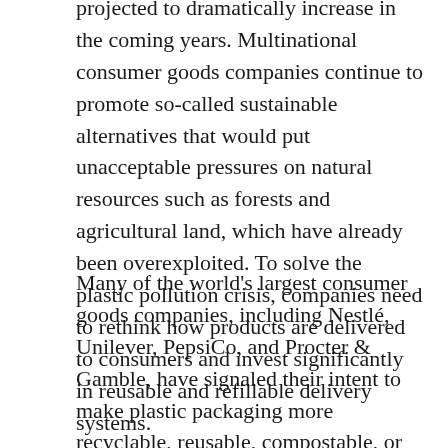projected to dramatically increase in the coming years. Multinational consumer goods companies continue to promote so-called sustainable alternatives that would put unacceptable pressures on natural resources such as forests and agricultural land, which have already been overexploited. To solve the plastic pollution crisis, companies need to rethink how products are delivered to consumers and invest significantly in reusable and refillable delivery systems.
Many of the world's largest consumer goods companies, including Nestlé, Unilever, PepsiCo, and Procter & Gamble, have signaled their intent to make plastic packaging more recyclable, reusable, compostable, or from recycled content. Meanwhile, they are aiming to continue, and even increase, the manufacturing of products wrapped in single-use plastic or disposable packaging made from other